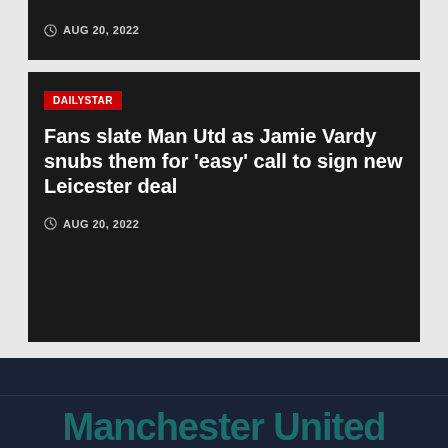AUG 20, 2022
DAILYSTAR
Fans slate Man Utd as Jamie Vardy snubs them for ‘easy’ call to sign new Leicester deal
AUG 20, 2022
Manchester United